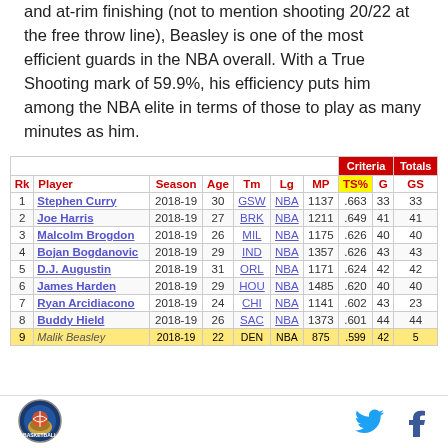and at-rim finishing (not to mention shooting 20/22 at the free throw line), Beasley is one of the most efficient guards in the NBA overall. With a True Shooting mark of 59.9%, his efficiency puts him among the NBA elite in terms of those to play as many minutes as him.
| ['Rk', 'Player', 'Season', 'Age', 'Tm', 'Lg', 'MP', 'TS%', 'G', 'GS'] |
| --- |
| 1 | Stephen Curry | 2018-19 | 30 | GSW | NBA | 1137 | .663 | 33 | 33 |
| 2 | Joe Harris | 2018-19 | 27 | BRK | NBA | 1211 | .649 | 41 | 41 |
| 3 | Malcolm Brogdon | 2018-19 | 26 | MIL | NBA | 1175 | .626 | 40 | 40 |
| 4 | Bojan Bogdanovic | 2018-19 | 29 | IND | NBA | 1357 | .626 | 43 | 43 |
| 5 | D.J. Augustin | 2018-19 | 31 | ORL | NBA | 1171 | .624 | 42 | 42 |
| 6 | James Harden | 2018-19 | 29 | HOU | NBA | 1485 | .620 | 40 | 40 |
| 7 | Ryan Arcidiacono | 2018-19 | 24 | CHI | NBA | 1141 | .602 | 43 | 23 |
| 8 | Buddy Hield | 2018-19 | 26 | SAC | NBA | 1373 | .601 | 44 | 44 |
| 9 | Malik Beasley | 2018-19 | 22 | DEN | NBA | 875 | .599 | 42 | 5 |
[Figure (logo): Sports website logo - circular badge with basketball imagery]
[Figure (logo): Twitter bird icon in blue]
[Figure (logo): Facebook f icon in dark blue]